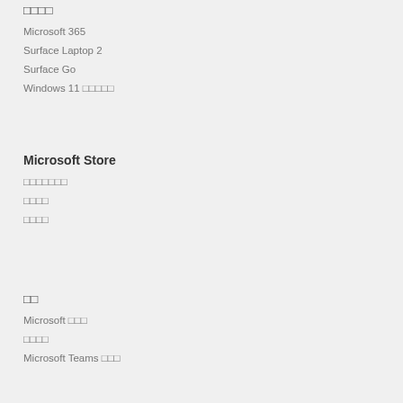□□□□
Microsoft 365
Surface Laptop 2
Surface Go
Windows 11 □□□□□
Microsoft Store
□□□□□□□
□□□□
□□□□
□□
Microsoft □□□
□□□□
Microsoft Teams □□□